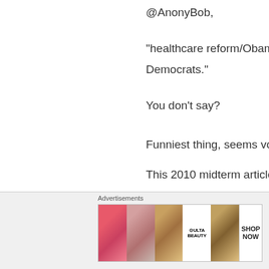@AnonyBob,
“healthcare reform/Obamacare is Democrats.”
You don’t say?
Funniest thing, seems voters have
This 2010 midterm article ring a p
Healthcare Vote Doomed 13 De
https://www.usnews.com/news/bh whispers/2011/04/12/healthcare- 2010-elections
Advertisements